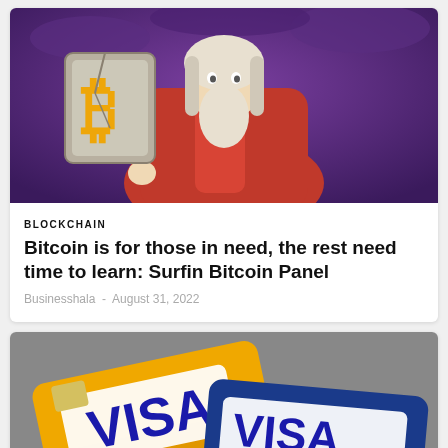[Figure (illustration): Illustrated figure of an old man with long white hair and beard, wearing a red robe, holding a stone tablet with a golden Bitcoin logo engraved on it. Purple stormy sky background.]
BLOCKCHAIN
Bitcoin is for those in need, the rest need time to learn: Surfin Bitcoin Panel
Businesshala - August 31, 2022
[Figure (photo): Close-up photo of multiple yellow and blue Visa credit cards stacked and fanned out, with a padlock visible in the background.]